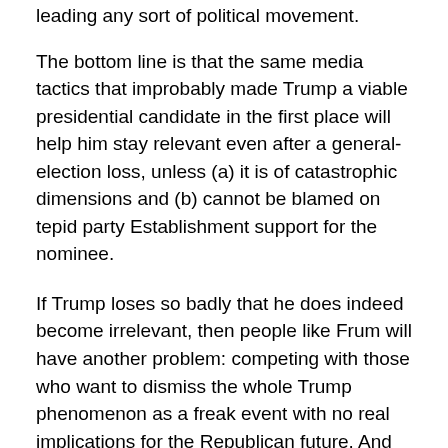leading any sort of political movement.
The bottom line is that the same media tactics that improbably made Trump a viable presidential candidate in the first place will help him stay relevant even after a general-election loss, unless (a) it is of catastrophic dimensions and (b) cannot be blamed on tepid party Establishment support for the nominee.
If Trump loses so badly that he does indeed become irrelevant, then people like Frum will have another problem: competing with those who want to dismiss the whole Trump phenomenon as a freak event with no real implications for the Republican future. And yes, such people will be thick on the ground, attributing the loss to Trump's abandonment of strict conservative orthodoxy on the very issues Frum thinks were responsible for the GOP alienation of its white working-class base from the get go,